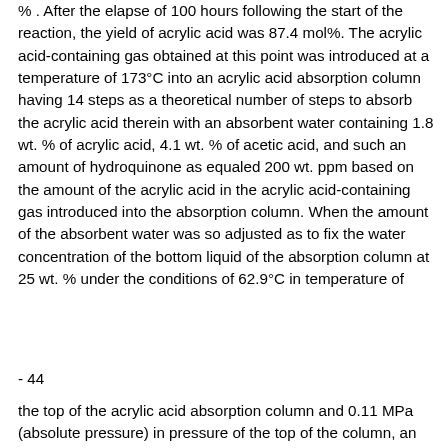% . After the elapse of 100 hours following the start of the reaction, the yield of acrylic acid was 87.4 mol%. The acrylic acid-containing gas obtained at this point was introduced at a temperature of 173°C into an acrylic acid absorption column having 14 steps as a theoretical number of steps to absorb the acrylic acid therein with an absorbent water containing 1.8 wt. % of acrylic acid, 4.1 wt. % of acetic acid, and such an amount of hydroquinone as equaled 200 wt. ppm based on the amount of the acrylic acid in the acrylic acid-containing gas introduced into the absorption column. When the amount of the absorbent water was so adjusted as to fix the water concentration of the bottom liquid of the absorption column at 25 wt. % under the conditions of 62.9°C in temperature of
- 44
the top of the acrylic acid absorption column and 0.11 MPa (absolute pressure) in pressure of the top of the column, an acrylic acid containing solution having a target water concentration was obtained at a mass flow ratio of the amount of the absorbent water/propylene = 8.8